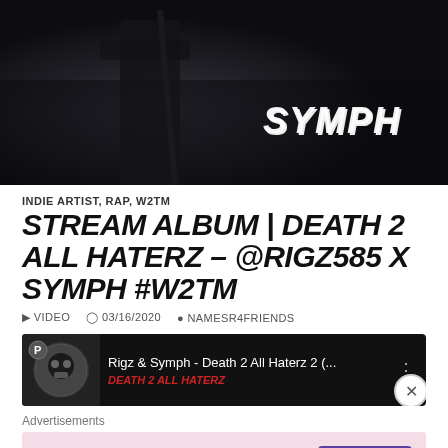[Figure (photo): Dark atmospheric photo showing a figure holding a weapon, with 'SYMPH' text in white stylized font on the right side. Dark moody background.]
INDIE ARTIST, RAP, W2TM
STREAM ALBUM | DEATH 2 ALL HATERZ – @RIGZ585 X SYMPH #W2TM
▶ VIDEO   🕐 03/16/2020   👤 NAMESR4FRIENDS
[Figure (screenshot): YouTube video embed showing 'Rigz & Symph - Death 2 All Haterz 2 (...' with a circular avatar thumbnail on dark background]
Advertisements
[Figure (screenshot): WordPress.com advertisement banner with pink background showing WordPress.com logo and 'Start Today' purple button]